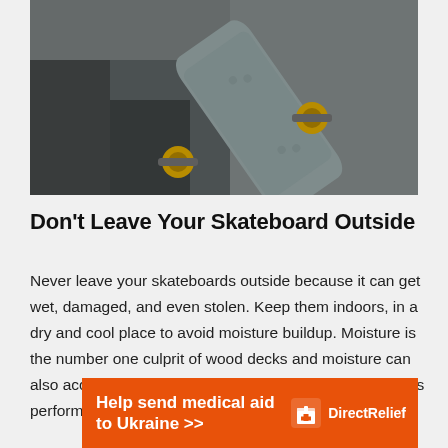[Figure (photo): A skateboard leaning against a surface outdoors on asphalt, with yellow/orange wheels visible, photographed from above at an angle.]
Don't Leave Your Skateboard Outside
Never leave your skateboards outside because it can get wet, damaged, and even stolen. Keep them indoors, in a dry and cool place to avoid moisture buildup. Moisture is the number one culprit of wood decks and moisture can also accumulate in your skateboard bearings, affecting its performance.
[Figure (infographic): Orange advertisement banner reading 'Help send medical aid to Ukraine >>' with Direct Relief logo on the right side.]